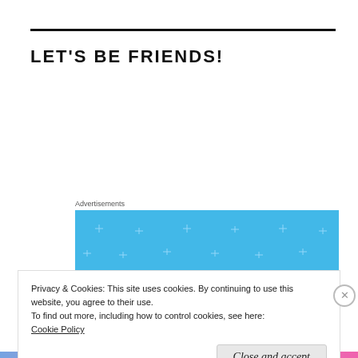LET'S BE FRIENDS!
Advertisements
[Figure (illustration): Blue advertisement banner with sparkle stars and illustrated hills/characters at the bottom]
Privacy & Cookies: This site uses cookies. By continuing to use this website, you agree to their use.
To find out more, including how to control cookies, see here:
Cookie Policy
Close and accept